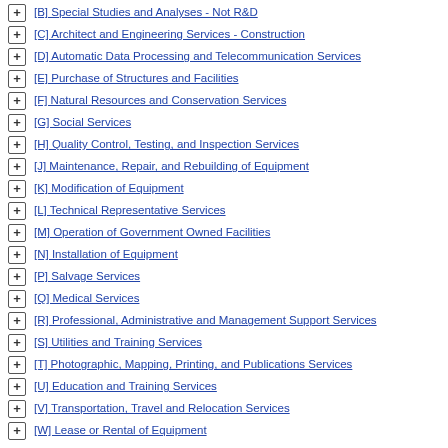[B] Special Studies and Analyses - Not R&D
[C] Architect and Engineering Services - Construction
[D] Automatic Data Processing and Telecommunication Services
[E] Purchase of Structures and Facilities
[F] Natural Resources and Conservation Services
[G] Social Services
[H] Quality Control, Testing, and Inspection Services
[J] Maintenance, Repair, and Rebuilding of Equipment
[K] Modification of Equipment
[L] Technical Representative Services
[M] Operation of Government Owned Facilities
[N] Installation of Equipment
[P] Salvage Services
[Q] Medical Services
[R] Professional, Administrative and Management Support Services
[S] Utilities and Training Services
[T] Photographic, Mapping, Printing, and Publications Services
[U] Education and Training Services
[V] Transportation, Travel and Relocation Services
[W] Lease or Rental of Equipment